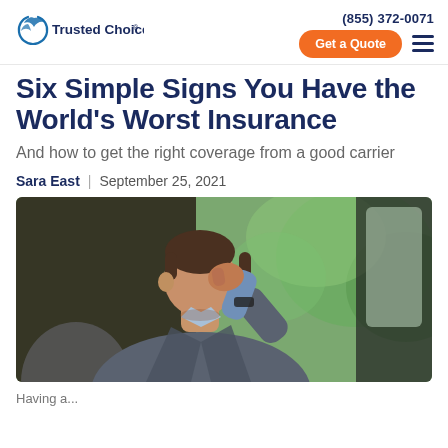Trusted Choice | (855) 372-0071 | Get a Quote
Six Simple Signs You Have the World's Worst Insurance
And how to get the right coverage from a good carrier
Sara East | September 25, 2021
[Figure (photo): A stressed man in a grey blazer sitting in a car, holding his hand to his forehead in a worried or frustrated pose, with a green blurred background outside the car window.]
Having a...